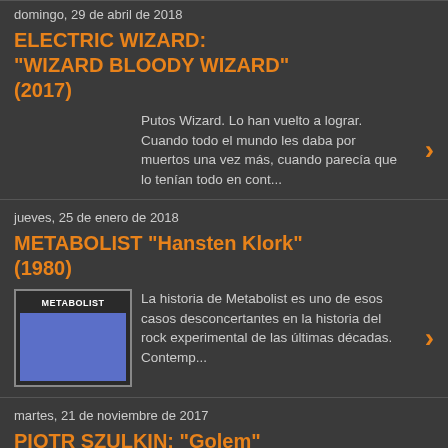domingo, 29 de abril de 2018
ELECTRIC WIZARD: "WIZARD BLOODY WIZARD" (2017)
Putos Wizard. Lo han vuelto a lograr. Cuando todo el mundo les daba por muertos una vez más, cuando parecía que lo tenían todo en cont...
jueves, 25 de enero de 2018
METABOLIST "Hansten Klork" (1980)
[Figure (illustration): Album cover thumbnail for METABOLIST Hansten Klork showing label text and blue rectangle]
La historia de Metabolist es uno de esos casos desconcertantes en la historia del rock experimental de las últimas décadas. Contemp...
martes, 21 de noviembre de 2017
PIOTR SZULKIN: "Golem" (1979)